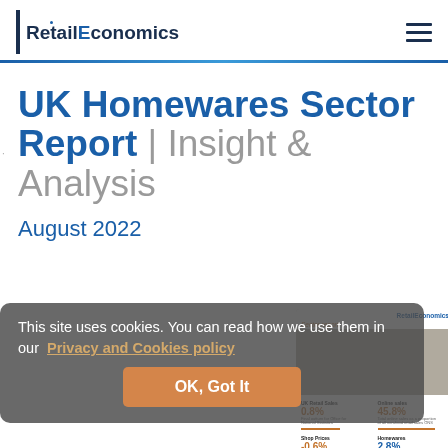[Figure (logo): Retail Economics logo with vertical bar and company name]
UK Homewares Sector Report | Insight & Analysis
August 2022
This site uses cookies. You can read how we use them in our Privacy and Cookies policy
[Figure (screenshot): Thumbnail preview of the UK Homewares Sector Report showing key stats: UK Retail Sales 0.8%, Online sales 45.8%, Shop Prices -0.6%, Homewares 2.8%]